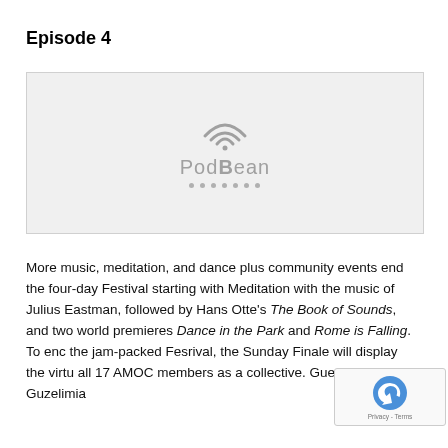Episode 4
[Figure (logo): PodBean logo with wifi/podcast arc icon above the text 'PodBean' and a row of small dots below, displayed on a light gray background]
More music, meditation, and dance plus community events end the four-day Festival starting with Meditation with the music of Julius Eastman, followed by Hans Otte's The Book of Sounds, and two world premieres Dance in the Park and Rome is Falling. To end the jam-packed Fesrival, the Sunday Finale will display the virtuosity of all 17 AMOC members as a collective. Guests: Ara Guzelimia...